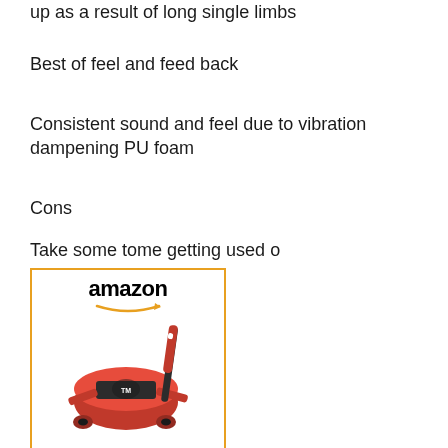up as a result of long single limbs
Best of feel and feed back
Consistent sound and feel due to vibration dampening PU foam
Cons
Take some tome getting used o
[Figure (other): Amazon product listing box showing a red TaylorMade Golf Spider Tour putter with Amazon logo and orange arrow, product image, and blue link text 'TaylorMade Golf Spider Tour...']